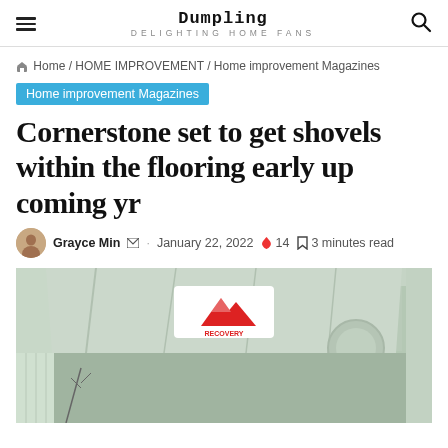Dumpling DELIGHTING HOME FANS
Home / HOME IMPROVEMENT / Home improvement Magazines
Home improvement Magazines
Cornerstone set to get shovels within the flooring early up coming yr
Grayce Min · January 22, 2022 🔥14 🔖3 minutes read
[Figure (photo): Photo of a green-painted porch/carport overhang with a Recovery sign featuring red mountain triangles logo]